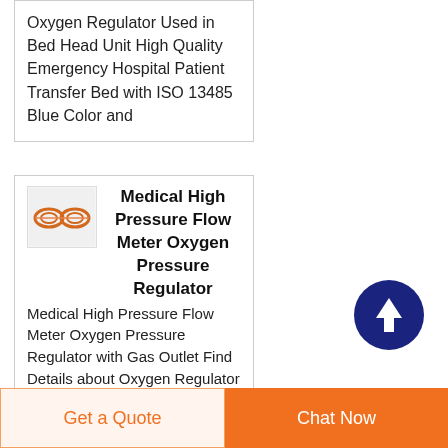Oxygen Regulator Used in Bed Head Unit High Quality Emergency Hospital Patient Transfer Bed with ISO 13485 Blue Color and
[Figure (photo): Small product thumbnail showing orange/copper colored oxygen regulator fittings on white background]
Medical High Pressure Flow Meter Oxygen Pressure Regulator
Medical High Pressure Flow Meter Oxygen Pressure Regulator with Gas Outlet Find Details about Oxygen Regulator Medical Oxygen Regulator from Medical High
[Figure (other): Dark navy blue circular scroll-to-top button with white upward arrow icon]
Get a Quote
Chat Now